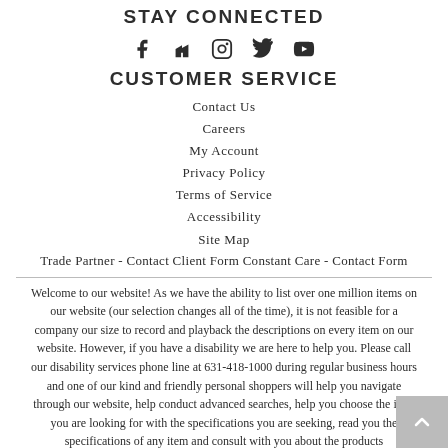STAY CONNECTED
[Figure (illustration): Social media icons: Facebook, Houzz, Instagram, Twitter, YouTube]
CUSTOMER SERVICE
Contact Us
Careers
My Account
Privacy Policy
Terms of Service
Accessibility
Site Map
Trade Partner - Contact Client Form Constant Care - Contact Form
Welcome to our website! As we have the ability to list over one million items on our website (our selection changes all of the time), it is not feasible for a company our size to record and playback the descriptions on every item on our website. However, if you have a disability we are here to help you. Please call our disability services phone line at 631-418-1000 during regular business hours and one of our kind and friendly personal shoppers will help you navigate through our website, help conduct advanced searches, help you choose the item you are looking for with the specifications you are seeking, read you the specifications of any item and consult with you about the products